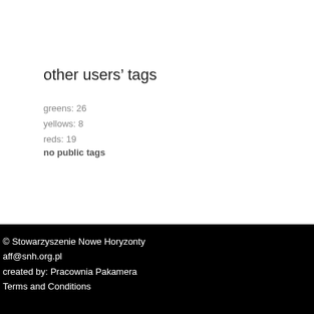other users' tags
greens: 26
yellows: 8
reds: 19
no public tags
© Stowarzyszenie Nowe Horyzonty
aff@snh.org.pl
created by: Pracownia Pakamera
Terms and Conditions